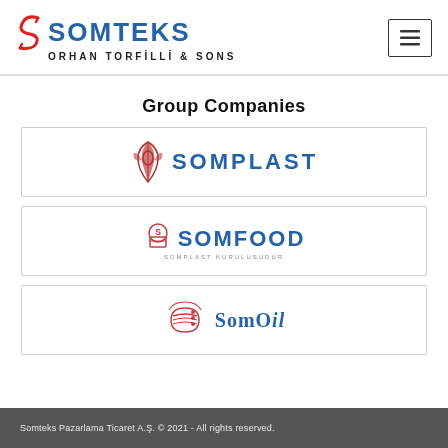SOMTEKS ORHAN TORFİLLİ & SONS
Group Companies
[Figure (logo): SOMPLAST company logo with stylized icon in red/dark red and blue text]
[Figure (logo): SOMFOOD company logo with stylized icon in red and blue bold text, subtitle SOMPLAST KURULUSUDUR]
[Figure (logo): SomOil company logo with stylized gear/ribbon icon in red and blue serif text]
Somteks Pazarlama Ticaret A.Ş. © 2021 - All rights reserved.